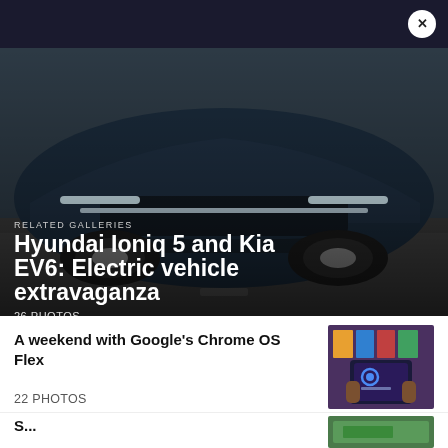[Figure (screenshot): Dark top navigation bar with close (X) button in top right corner]
[Figure (photo): Front view of a dark blue Hyundai Ioniq 5 electric vehicle photographed from low angle on a road]
RELATED GALLERIES
Hyundai Ioniq 5 and Kia EV6: Electric vehicle extravaganza
26 PHOTOS
A weekend with Google's Chrome OS Flex
22 PHOTOS
[Figure (photo): Person holding a tablet or device with ChromeOS Flex interface visible on screen]
S...